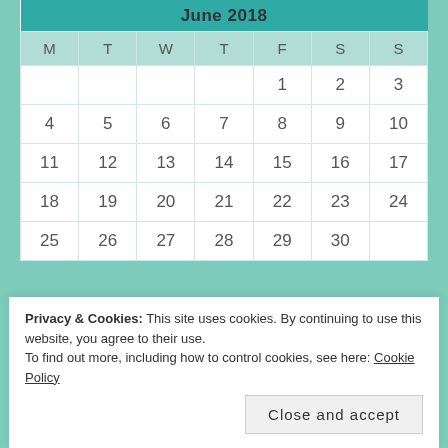| M | T | W | T | F | S | S |
| --- | --- | --- | --- | --- | --- | --- |
|  |  |  |  | 1 | 2 | 3 |
| 4 | 5 | 6 | 7 | 8 | 9 | 10 |
| 11 | 12 | 13 | 14 | 15 | 16 | 17 |
| 18 | 19 | 20 | 21 | 22 | 23 | 24 |
| 25 | 26 | 27 | 28 | 29 | 30 |  |
« May   Jul »
Privacy & Cookies: This site uses cookies. By continuing to use this website, you agree to their use.
To find out more, including how to control cookies, see here: Cookie Policy
Close and accept